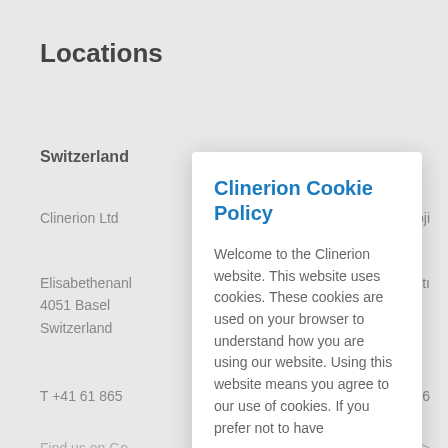Locations
Switzerland
Clinerion Ltd
eknoloji
Elisabethenanl
4051 Basel
Switzerland
7 Batı
T +41 61 865
86
Find us on Go
Maps >
Clinerion Cookie Policy
Welcome to the Clinerion website. This website uses cookies. These cookies are used on your browser to understand how you are using our website. Using this website means you agree to our use of cookies. If you prefer not to have